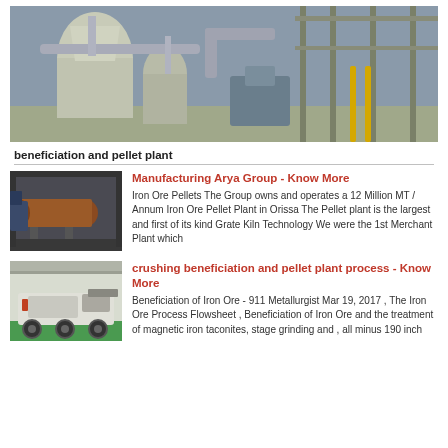[Figure (photo): Industrial plant exterior showing large cylindrical tanks, ducts, pipes, and processing equipment under a steel frame roof.]
beneficiation and pellet plant
[Figure (photo): Large rotary kiln or cylindrical industrial machine inside a factory building.]
Manufacturing Arya Group - Know More
Iron Ore Pellets The Group owns and operates a 12 Million MT / Annum Iron Ore Pellet Plant in Orissa The Pellet plant is the largest and first of its kind Grate Kiln Technology We were the 1st Merchant Plant which
[Figure (photo): Mobile crushing and screening equipment inside a large warehouse with green floor.]
crushing beneficiation and pellet plant process - Know More
Beneficiation of Iron Ore - 911 Metallurgist Mar 19, 2017 , The Iron Ore Process Flowsheet , Beneficiation of Iron Ore and the treatment of magnetic iron taconites, stage grinding and , all minus 190 inch